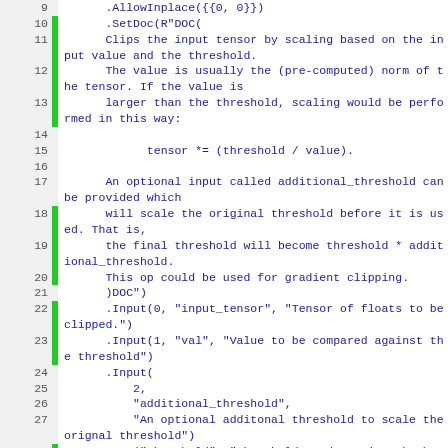[Figure (screenshot): Source code screenshot showing lines 9-32 of C++ code defining an operator with documentation string, inputs, arguments, and outputs for a tensor clipping operation. Code uses monospace font, blue text on white background, with green gutter markers on certain lines and grey line number column.]